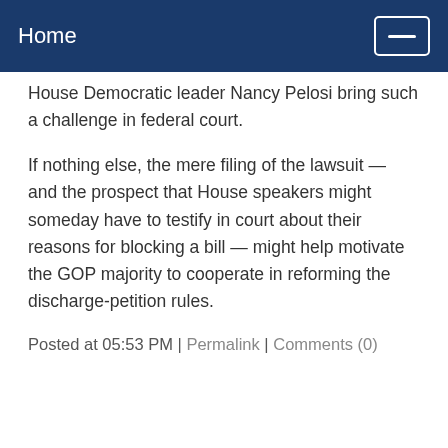Home
House Democratic leader Nancy Pelosi bring such a challenge in federal court.
If nothing else, the mere filing of the lawsuit — and the prospect that House speakers might someday have to testify in court about their reasons for blocking a bill — might help motivate the GOP majority to cooperate in reforming the discharge-petition rules.
Posted at 05:53 PM | Permalink | Comments (0)